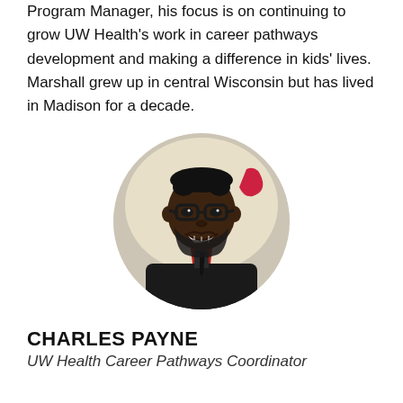Program Manager, his focus is on continuing to grow UW Health's work in career pathways development and making a difference in kids' lives. Marshall grew up in central Wisconsin but has lived in Madison for a decade.
[Figure (photo): Circular headshot photo of Charles Payne, a man wearing glasses, a red plaid shirt, and a dark blazer, smiling broadly against a light background with a partial red logo visible.]
CHARLES PAYNE
UW Health Career Pathways Coordinator